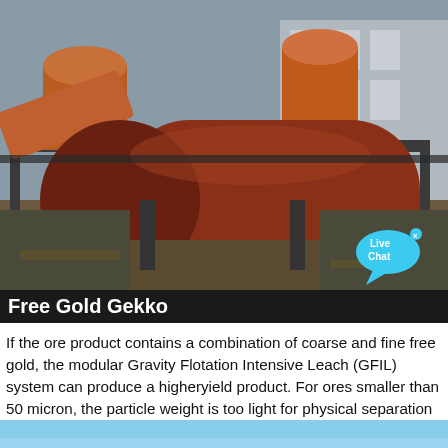[Figure (photo): Industrial mining equipment photo showing large rotating drum/cylinder machinery (likely a rotary kiln or trommel) on a metal frame structure at a mining facility. Orange/rust-colored cylindrical drums visible in background. Industrial building visible in the rear. A 'Live Chat' speech bubble overlay appears in the bottom-right corner of the photo.]
Free Gold Gekko
If the ore product contains a combination of coarse and fine free gold, the modular Gravity Flotation Intensive Leach (GFIL) system can produce a higheryield product. For ores smaller than 50 micron, the particle weight is too light for physical separation by gravity therefore gold recovery will require a modular chemical flotation process.
[Figure (photo): Partial photo at bottom of page showing blue sky, beginning of another image below the text section.]